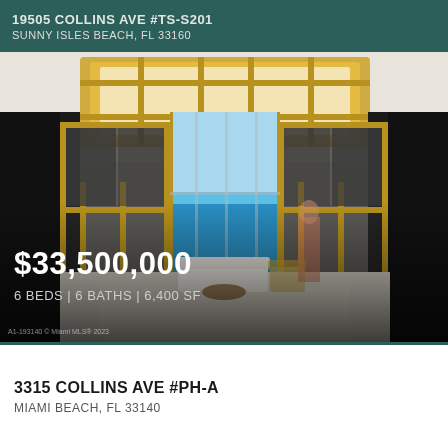19505 COLLINS AVE #TS-S201 SUNNY ISLES BEACH, FL 33160
[Figure (photo): Interior photo of a luxury penthouse living area with floor-to-ceiling gold-framed doors/windows opening to an ocean view, white furniture, marble floors, and a circular gold ceiling fixture]
$33,500,000
6 BEDS | 6 BATHS | 6,400 SF
3315 COLLINS AVE #PH-A
MIAMI BEACH, FL 33140